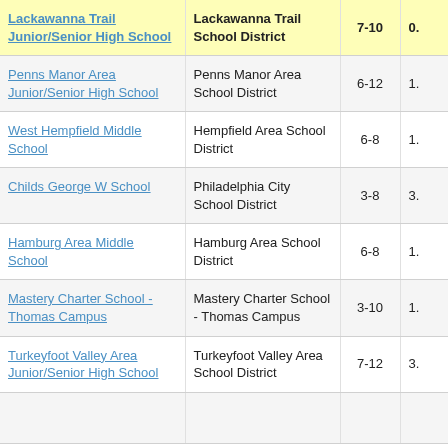| School | District | Grades |  |
| --- | --- | --- | --- |
| Lackawanna Trail Junior/Senior High School | Lackawanna Trail School District | 7-10 | 0. |
| Penns Manor Area Junior/Senior High School | Penns Manor Area School District | 6-12 | 1. |
| West Hempfield Middle School | Hempfield Area School District | 6-8 | 1. |
| Childs George W School | Philadelphia City School District | 3-8 | 3. |
| Hamburg Area Middle School | Hamburg Area School District | 6-8 | 1. |
| Mastery Charter School - Thomas Campus | Mastery Charter School - Thomas Campus | 3-10 | 1. |
| Turkeyfoot Valley Area Junior/Senior High School | Turkeyfoot Valley Area School District | 7-12 | 3. |